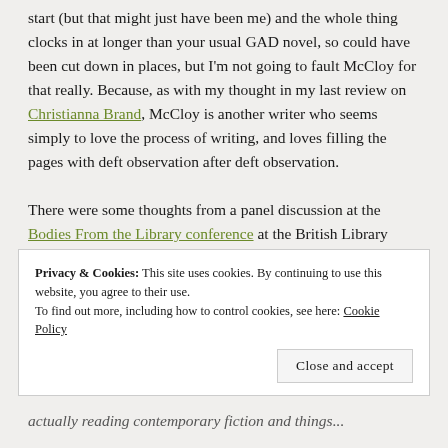start (but that might just have been me) and the whole thing clocks in at longer than your usual GAD novel, so could have been cut down in places, but I'm not going to fault McCloy for that really. Because, as with my thought in my last review on Christianna Brand, McCloy is another writer who seems simply to love the process of writing, and loves filling the pages with deft observation after deft observation.
There were some thoughts from a panel discussion at the Bodies From the Library conference at the British Library earlier this year, in response to a question
Privacy & Cookies: This site uses cookies. By continuing to use this website, you agree to their use.
To find out more, including how to control cookies, see here: Cookie Policy
Close and accept
actually reading contemporary fiction and things...